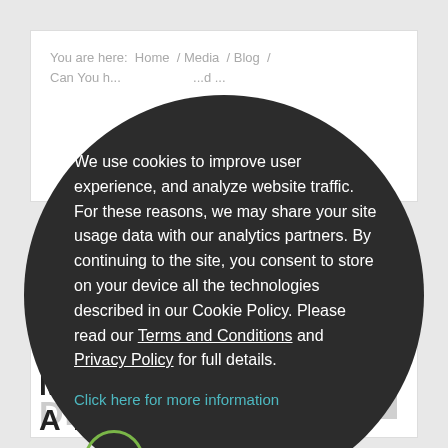You are here: Home / Media / Blog / Can You b... ...s ...d ...
We use cookies to improve user experience, and analyze website traffic. For these reasons, we may share your site usage data with our analytics partners. By continuing to the site, you consent to store on your device all the technologies described in our Cookie Policy. Please read our Terms and Conditions and Privacy Policy for full details.
Click here for more information
Accept
CAN YOU HIRE MOVERS TO UNLOAD A TRUCK?